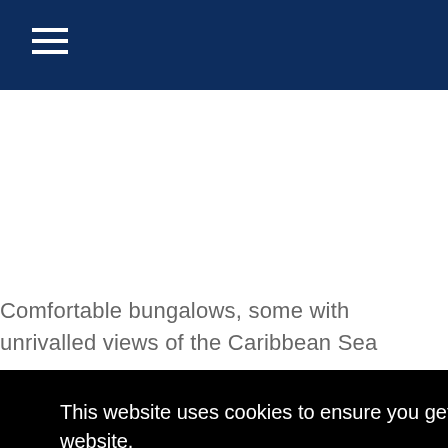Comfortable bungalows, some with unrivalled views of the Caribbean Sea
This website uses cookies to ensure you get the best experience on our website.
Learn more
Got it!